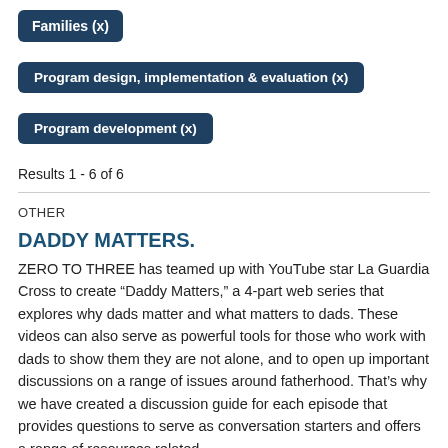Families (x)
Program design, implementation & evaluation (x)
Program development (x)
Results 1 - 6 of 6
OTHER
DADDY MATTERS.
ZERO TO THREE has teamed up with YouTube star La Guardia Cross to create “Daddy Matters,” a 4-part web series that explores why dads matter and what matters to dads. These videos can also serve as powerful tools for those who work with dads to show them they are not alone, and to open up important discussions on a range of issues around fatherhood. That’s why we have created a discussion guide for each episode that provides questions to serve as conversation starters and offers a range of resources related